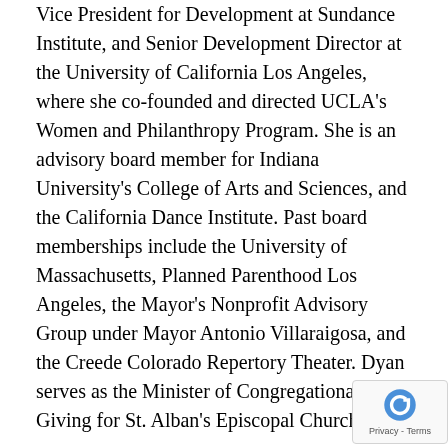Vice President for Development at Sundance Institute, and Senior Development Director at the University of California Los Angeles, where she co-founded and directed UCLA's Women and Philanthropy Program. She is an advisory board member for Indiana University's College of Arts and Sciences, and the California Dance Institute. Past board memberships include the University of Massachusetts, Planned Parenthood Los Angeles, the Mayor's Nonprofit Advisory Group under Mayor Antonio Villaraigosa, and the Creede Colorado Repertory Theater. Dyan serves as the Minister of Congregational Giving for St. Alban's Episcopal Church.
Dyan's work on women and philanthropy has been used as a model for nonprofits nationwide. She is a contributing writer to the book Wom...